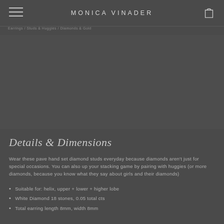MONICA VINADER
Earrings / Studs & Huggies / Diamonds & Gold
[Figure (photo): Product image area — grey background showing diamond stud earring product photo]
Details & Dimensions
Wear these pave hand set diamond studs everyday because diamonds aren't just for special occasions. You can also up your stacking game by pairing with huggies (or more diamonds, because you know what they say about girls and their diamonds)
Suitable for: helix, upper + lower + higher lobe
White Diamond 18 stones, 0.05 total cts
Total earring length 8mm, width 8mm